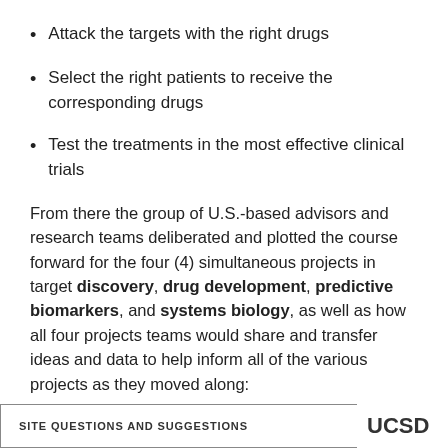Attack the targets with the right drugs
Select the right patients to receive the corresponding drugs
Test the treatments in the most effective clinical trials
From there the group of U.S.-based advisors and research teams deliberated and plotted the course forward for the four (4) simultaneous projects in target discovery, drug development, predictive biomarkers, and systems biology, as well as how all four projects teams would share and transfer ideas and data to help inform all of the various projects as they moved along:
Defeat GBM Project Overview
Discovery
SITE QUESTIONS AND SUGGESTIONS   UCSD